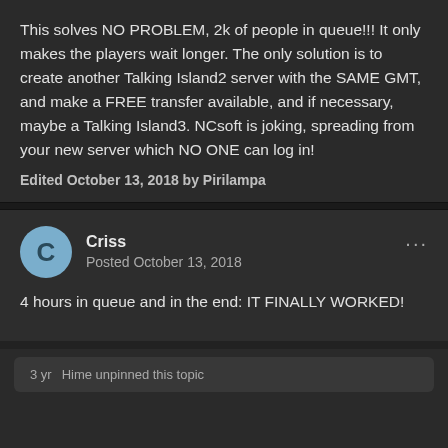This solves NO PROBLEM, 2k of people in queue!!! It only makes the players wait longer. The only solution is to create another Talking Island2 server with the SAME GMT, and make a FREE transfer available, and if necessary, maybe a Talking Island3. NCsoft is joking, spreading from your new server which NO ONE can log in!
Edited October 13, 2018 by Pirilampa
Criss
Posted October 13, 2018
4 hours in queue and in the end: IT FINALLY WORKED!
3 yr   Hime unpinned this topic